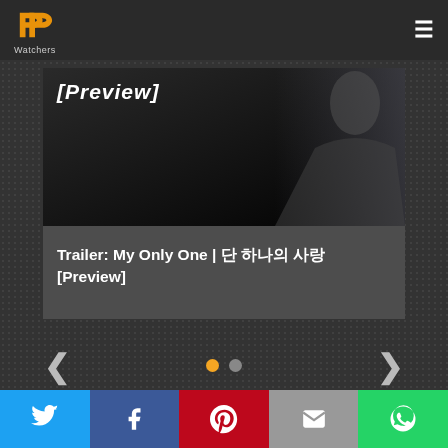[Figure (logo): PP Watchers logo - golden/orange double-P symbol with 'Watchers' text below]
[Figure (screenshot): Video thumbnail showing '[Preview]' text overlay and a person in background, partially visible. Below is a dark gray card with the title 'Trailer: My Only One | 단 하나의 사랑 [Preview]'. Navigation arrows left/right and two indicator dots (orange active, gray inactive) are shown.]
[Figure (infographic): Social sharing bar with five buttons: Twitter (blue), Facebook (dark blue), Pinterest (red), Email (gray), WhatsApp (green)]